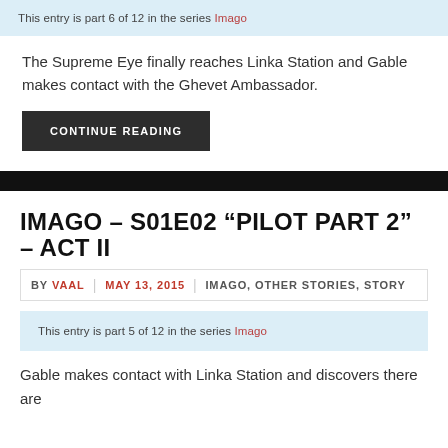This entry is part 6 of 12 in the series Imago
The Supreme Eye finally reaches Linka Station and Gable makes contact with the Ghevet Ambassador.
CONTINUE READING
IMAGO – S01E02 “PILOT PART 2” – ACT II
BY VAAL | MAY 13, 2015 | IMAGO, OTHER STORIES, STORY
This entry is part 5 of 12 in the series Imago
Gable makes contact with Linka Station and discovers there are